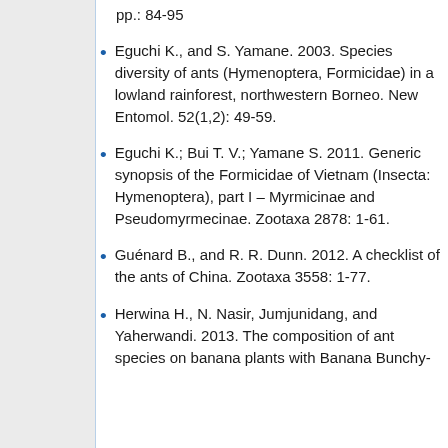pp.: 84-95
Eguchi K., and S. Yamane. 2003. Species diversity of ants (Hymenoptera, Formicidae) in a lowland rainforest, northwestern Borneo. New Entomol. 52(1,2): 49-59.
Eguchi K.; Bui T. V.; Yamane S. 2011. Generic synopsis of the Formicidae of Vietnam (Insecta: Hymenoptera), part I – Myrmicinae and Pseudomyrmecinae. Zootaxa 2878: 1-61.
Guénard B., and R. R. Dunn. 2012. A checklist of the ants of China. Zootaxa 3558: 1-77.
Herwina H., N. Nasir, Jumjunidang, and Yaherwandi. 2013. The composition of ant species on banana plants with Banana Bunchy-